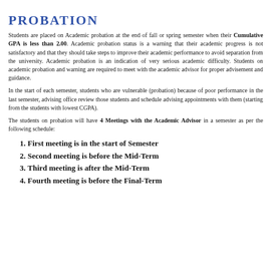PROBATION
Students are placed on Academic probation at the end of fall or spring semester when their Cumulative GPA is less than 2.00. Academic probation status is a warning that their academic progress is not satisfactory and that they should take steps to improve their academic performance to avoid separation from the university. Academic probation is an indication of very serious academic difficulty. Students on academic probation and warning are required to meet with the academic advisor for proper advisement and guidance.
In the start of each semester, students who are vulnerable (probation) because of poor performance in the last semester, advising office review those students and schedule advising appointments with them (starting from the students with lowest CGPA).
The students on probation will have 4 Meetings with the Academic Advisor in a semester as per the following schedule:
First meeting is in the start of Semester
Second meeting is before the Mid-Term
Third meeting is after the Mid-Term
Fourth meeting is before the Final-Term